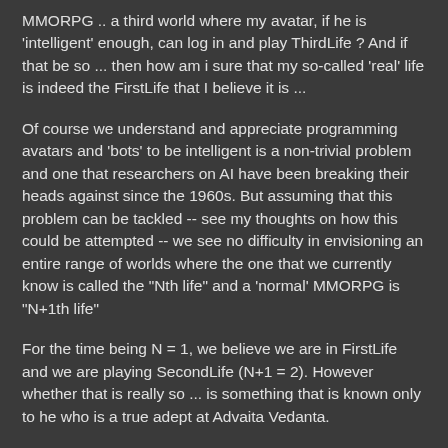MMORPG .. a third world where my avatar, if he is 'intelligent' enough, can log in and play ThirdLife ? And if that be so ... then how am i sure that my so-called 'real' life is indeed the FirstLife that I believe it is ...
Of course we understand and appreciate programming avatars and 'bots' to be intelligent is a non-trivial problem and one that researchers on AI have been breaking their heads against since the 1960s. But assuming that this problem can be tackled -- see my thoughts on how this could be attempted -- we see no difficulty in envisioning an entire range of worlds where the one that we currently know is called the "Nth life" and a 'normal' MMORPG is "N+1th life"
For the time being N = 1, we believe we are in FirstLife and we are playing SecondLife (N+1 = 2). However whether that is really so ... is something that is known only to he who is a true adept at Advaita Vedanta.
Let me conclude with a story that is popular with Zen Buddhists. There was monk who fell asleep under a tree and had a very vivid dream. He dreamt that he was a butterfly